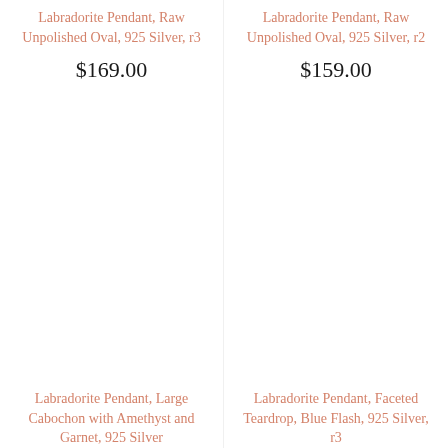Labradorite Pendant, Raw Unpolished Oval, 925 Silver, r3
$169.00
Labradorite Pendant, Raw Unpolished Oval, 925 Silver, r2
$159.00
Labradorite Pendant, Large Cabochon with Amethyst and Garnet, 925 Silver
Labradorite Pendant, Faceted Teardrop, Blue Flash, 925 Silver, r3